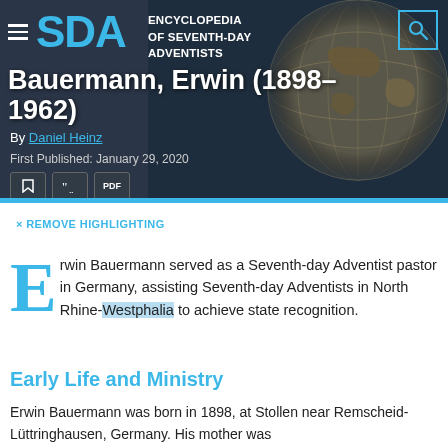ENCYCLOPEDIA OF SEVENTH-DAY ADVENTISTS
Bauermann, Erwin (1898–1962)
By Daniel Heinz
First Published: January 29, 2020
× REMOVE HIGHLIGHTING
Erwin Bauermann served as a Seventh-day Adventist pastor in Germany, assisting Seventh-day Adventists in North Rhine-Westphalia to achieve state recognition.
Early Life and Ministry
Erwin Bauermann was born in 1898, at Stollen near Remscheid-Lüttringhausen, Germany. His mother was